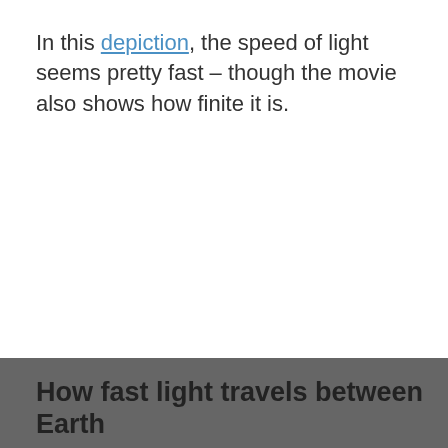In this depiction, the speed of light seems pretty fast – though the movie also shows how finite it is.
How fast light travels between Earth